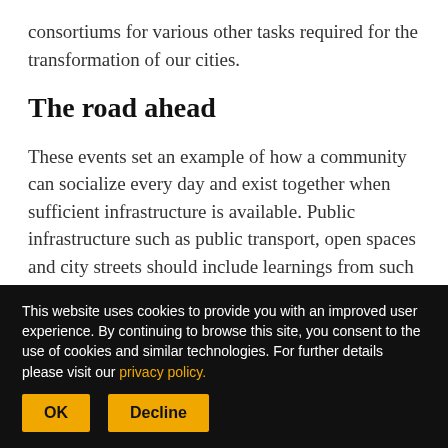consortiums for various other tasks required for the transformation of our cities.
The road ahead
These events set an example of how a community can socialize every day and exist together when sufficient infrastructure is available. Public infrastructure such as public transport, open spaces and city streets should include learnings from such events to bring in desired changes in the design
This website uses cookies to provide you with an improved user experience. By continuing to browse this site, you consent to the use of cookies and similar technologies. For further details please visit our privacy policy.
OK
Decline